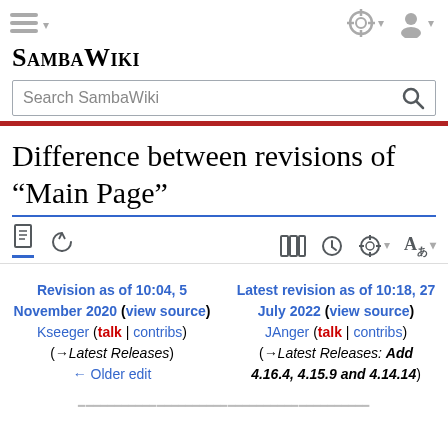SambaWiki — Search SambaWiki
Difference between revisions of "Main Page"
Revision as of 10:04, 5 November 2020 (view source) Kseeger (talk | contribs) (→Latest Releases) ← Older edit
Latest revision as of 10:18, 27 July 2022 (view source) JAnger (talk | contribs) (→Latest Releases: Add 4.16.4, 4.15.9 and 4.14.14)